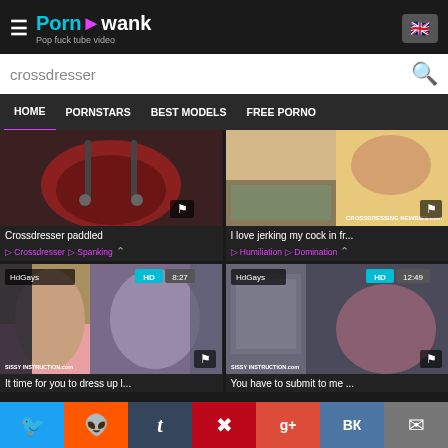PornAwank - Pop fuck tube video
crossdresser
HOME
PORNSTARS
BEST MODELS
FREE PORNO
[Figure (screenshot): Video thumbnail for Crossdresser paddled with flag icon]
Crossdresser paddled
Crossdresser • Spanking
[Figure (screenshot): Video thumbnail for I love jerking my cock in fr... with CROSSDRESSING NEWBIES watermark]
I love jerking my cock in fr...
Humiliation • Domination
[Figure (screenshot): Video thumbnail HdGays HD 8:27 - It time for you to dress up l... SISSY INSTRUCTION watermark]
It time for you to dress up l...
[Figure (screenshot): Video thumbnail HdGays HD 12:49 - You have to submit to me ... SISSY INSTRUCTION watermark]
You have to submit to me ...
Twitter | Reddit | Tumblr | Pinterest | G+ | VK | Email